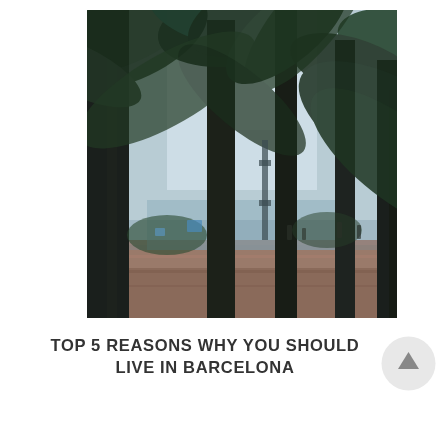[Figure (photo): A photograph looking up through a row of tall palm trees along a promenade in Barcelona. The trunks are dark silhouettes against a light overcast sky, with green palm fronds fanning out at the top. A city street and people are visible in the background.]
TOP 5 REASONS WHY YOU SHOULD LIVE IN BARCELONA